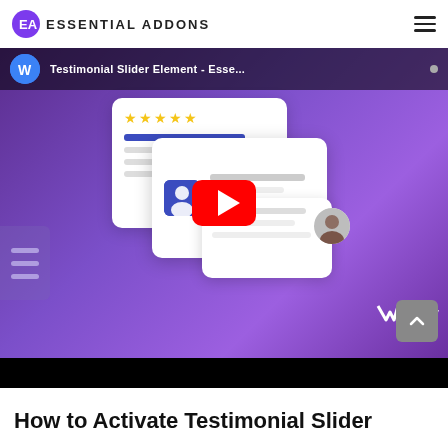ESSENTIAL ADDONS
[Figure (screenshot): YouTube video thumbnail showing a Testimonial Slider Element tutorial video with purple gradient background, testimonial card UI mockups, a YouTube play button overlay, and WPDev branding. Video title bar reads 'Testimonial Slider Element - Esse...']
How to Activate Testimonial Slider